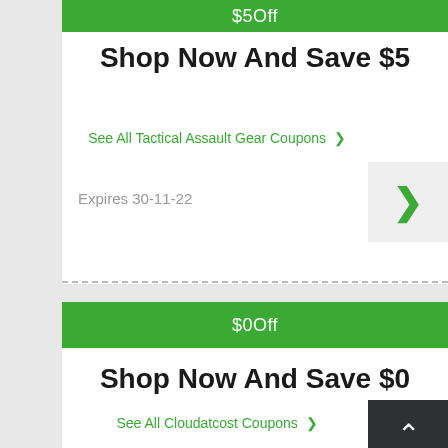$5Off
Shop Now And Save $5
See All Tactical Assault Gear Coupons >
Expires 30-11-22
$0Off
Shop Now And Save $0
See All Cloudatcost Coupons >
Expires 30-11-22